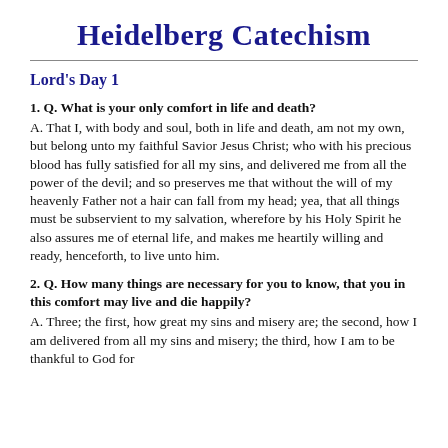Heidelberg Catechism
Lord's Day 1
1. Q. What is your only comfort in life and death? A. That I, with body and soul, both in life and death, am not my own, but belong unto my faithful Savior Jesus Christ; who with his precious blood has fully satisfied for all my sins, and delivered me from all the power of the devil; and so preserves me that without the will of my heavenly Father not a hair can fall from my head; yea, that all things must be subservient to my salvation, wherefore by his Holy Spirit he also assures me of eternal life, and makes me heartily willing and ready, henceforth, to live unto him.
2. Q. How many things are necessary for you to know, that you in this comfort may live and die happily? A. Three; the first, how great my sins and misery are; the second, how I am delivered from all my sins and misery; the third, how I am to be thankful to God for